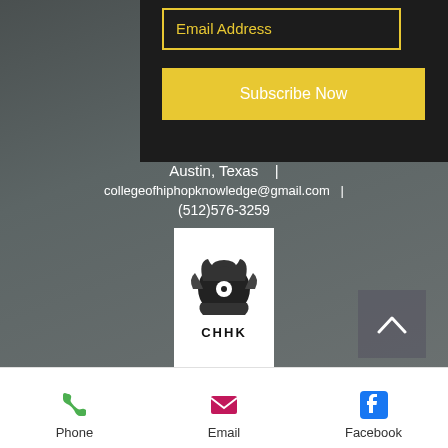Email Address
Subscribe Now
Austin, Texas   |   collegeofhiphopknowledge@gmail.com   |   (512)576-3259
[Figure (logo): CHHK logo — crown/record graphic above text 'CHHK' on white background]
© 2016 by College of Hip Hop Knowledge LLC
[Figure (logo): CHHK logo bottom small version]
Phone
Email
Facebook